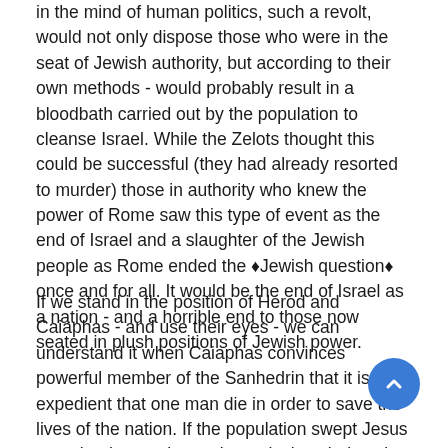in the mind of human politics, such a revolt, would not only dispose those who were in the seat of Jewish authority, but according to their own methods - would probably result in a bloodbath carried out by the population to cleanse Israel. While the Zelots thought this could be successful (they had already resorted to murder) those in authority who knew the power of Rome saw this type of event as the end of Israel and a slaughter of the Jewish people as Rome ended the “Jewish question” once and for all. It would be the end of Israel as a nation - and a horrible end to those now seated in plush positions of Jewish power.
If we stand in the position of Herod and Caiaphas - and use their eyes - we can understand it when Caiaphas convinces powerful member of the Sanhedrin that it is expedient that one man die in order to save the lives of the nation. If the population swept Jesus onto the throne via revolt - surly the whole sale slaughter of Jews by a Roman army would take place. And the most dangerous moment would be when Jerusalem began to fill up with Jews from of outlaying cities like Galilee who were not as loyal to the current political rules in Jerusalem. Religious fervor would be at a pitch and the garrison of Atonia would be far outnumbered. Therefore Jesus must be arrested in secret and as quickly as possible once he showed up. His trial must be private and in the dead of night (which will be done by Magistrates) and his execution quick. So that...